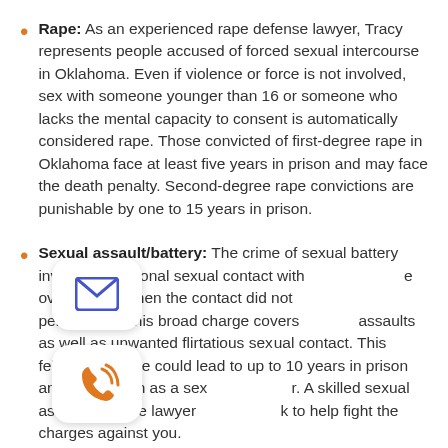Rape: As an experienced rape defense lawyer, Tracy represents people accused of forced sexual intercourse in Oklahoma. Even if violence or force is not involved, sex with someone younger than 16 or someone who lacks the mental capacity to consent is automatically considered rape. Those convicted of first-degree rape in Oklahoma face at least five years in prison and may face the death penalty. Second-degree rape convictions are punishable by one to 15 years in prison.
Sexual assault/battery: The crime of sexual battery involves intentional sexual contact with someone over age 16 when the contact did not involve penetration. This broad charge covers physical assaults as well as unwanted flirtatious sexual contact. This felony sex crime could lead to up to 10 years in prison and registration as a sex offender. A skilled sexual assault defense lawyer can work to help fight the charges against you.
Prostitution: As in most states, prostitution is a crime in Oklahoma. Charges can stem from...